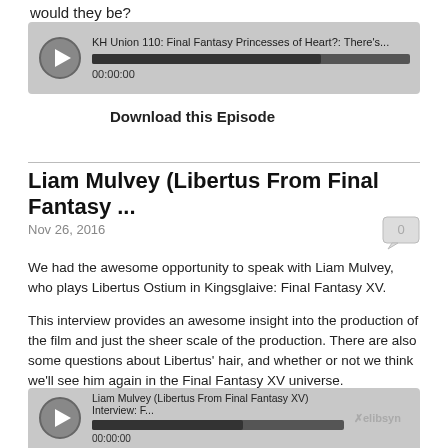would they be?
[Figure (other): Audio player for KH Union 110: Final Fantasy Princesses of Heart?: There's... showing progress bar at 00:00:00]
Download this Episode
Liam Mulvey (Libertus From Final Fantasy ...
Nov 26, 2016
We had the awesome opportunity to speak with Liam Mulvey, who plays Libertus Ostium in Kingsglaive: Final Fantasy XV.
This interview provides an awesome insight into the production of the film and just the sheer scale of the production. There are also some questions about Libertus' hair, and whether or not we think we'll see him again in the Final Fantasy XV universe.
We hope you enjoy it, and we hope there are going to be many more interviews as part of this series! Fingers crossed! :D
[Figure (other): Audio player for Liam Mulvey (Libertus From Final Fantasy XV) Interview: F... showing progress bar at 00:00:00 with libsyn logo]